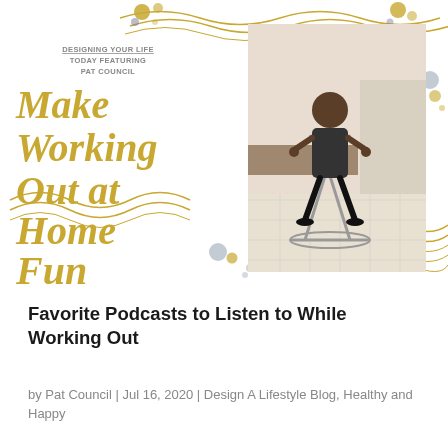[Figure (infographic): Blog post header image for 'Designing Your Life Today featuring Pat Council – Make Working Out at Home Fun'. Features decorative gold swirls, dots in gold/grey/blue, large italic gold serif text, and a photo of a woman on an elliptical machine in a home setting.]
Favorite Podcasts to Listen to While Working Out
by Pat Council | Jul 16, 2020 | Design A Lifestyle Blog, Healthy and Happy